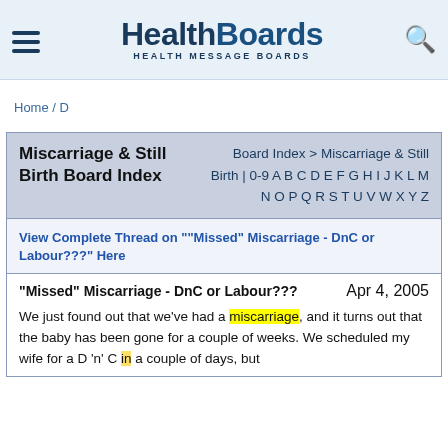HealthBoards HEALTH MESSAGE BOARDS
Home / D
Miscarriage & Still Birth Board Index
Board Index > Miscarriage & Still Birth | 0-9 A B C D E F G H I J K L M N O P Q R S T U V W X Y Z
View Complete Thread on ""Missed" Miscarriage - DnC or Labour???" Here
"Missed" Miscarriage - DnC or Labour???
Apr 4, 2005
We just found out that we've had a miscarriage, and it turns out that the baby has been gone for a couple of weeks. We scheduled my wife for a D 'n' C in a couple of days, but